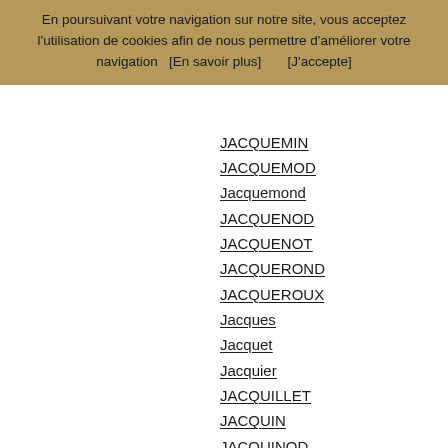En poursuivant votre navigation sur notre site, vous acceptez l'utilisation de cookies afin de nous permettre d'améliorer votre navigation   [En savoir plus]        [J'accepte]
JACQUEMIN
JACQUEMOD
Jacquemond
JACQUENOD
JACQUENOT
JACQUEROND
JACQUEROUX
Jacques
Jacquet
Jacquier
JACQUILLET
JACQUIN
JACQUINOD
JACQUINOD CARRY
JACQUINOT
JACQUINOT CARRY
JACQUIOD
JACQUIOT
JACQUON
JACQUOT